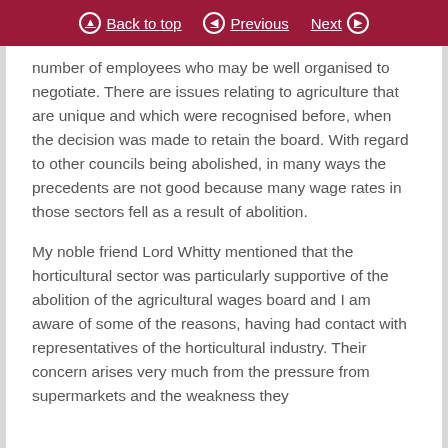Back to top | Previous | Next
number of employees who may be well organised to negotiate. There are issues relating to agriculture that are unique and which were recognised before, when the decision was made to retain the board. With regard to other councils being abolished, in many ways the precedents are not good because many wage rates in those sectors fell as a result of abolition.
My noble friend Lord Whitty mentioned that the horticultural sector was particularly supportive of the abolition of the agricultural wages board and I am aware of some of the reasons, having had contact with representatives of the horticultural industry. Their concern arises very much from the pressure from supermarkets and the weakness they